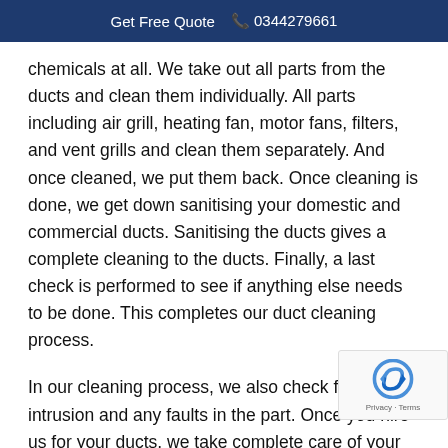Get Free Quote  📞 0344279661
chemicals at all. We take out all parts from the ducts and clean them individually. All parts including air grill, heating fan, motor fans, filters, and vent grills and clean them separately. And once cleaned, we put them back. Once cleaning is done, we get down sanitising your domestic and commercial ducts. Sanitising the ducts gives a complete cleaning to the ducts. Finally, a last check is performed to see if anything else needs to be done. This completes our duct cleaning process.
In our cleaning process, we also check for animal intrusion and any faults in the part. Once you hire us for your ducts, we take complete care of your ducts in every possible way without ever compromising on the quality of service.